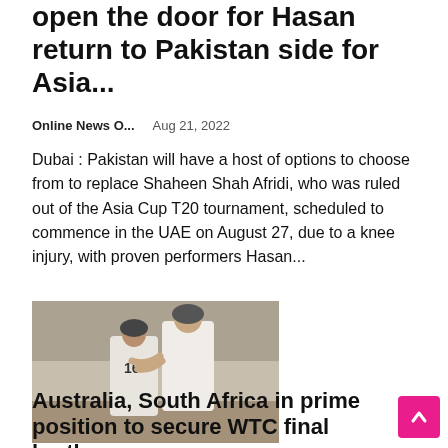open the door for Hasan return to Pakistan side for Asia...
Online News O...    Aug 21, 2022
Dubai : Pakistan will have a host of options to choose from to replace Shaheen Shah Afridi, who was ruled out of the Asia Cup T20 tournament, scheduled to commence in the UAE on August 27, due to a knee injury, with proven performers Hasan...
[Figure (photo): Two cricket players in white uniforms, one wearing number 16, embracing or celebrating on a cricket field. A pink 'CRICKET' category tag overlays the top-left corner of the image.]
Australia, South Africa in prime position to secure WTC final berths